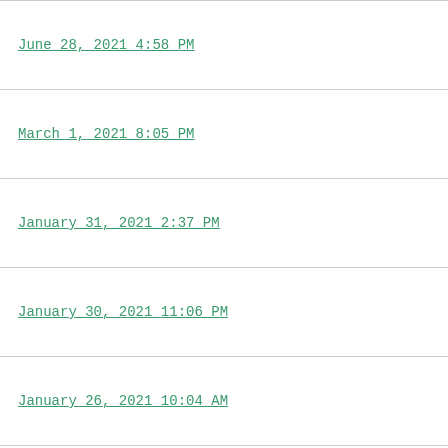| Date | Team | Manager |
| --- | --- | --- |
| June 28, 2021 4:58 PM | Des Moines Monastics | May
WSN
S |
| March 1, 2021 8:05 PM | Laser Showalter 🔴🔴🔴🔴 | Kol
ARI |
| January 31, 2021 2:37 PM | LouBobcatz🐱 | Jo
HOU |
| January 30, 2021 11:06 PM | Light Tower Power | Dre
SDP RP
Mi
LAA |
| January 26, 2021 10:04 AM | Savoy's Truffles | Patr
WSN
Nol
COL |